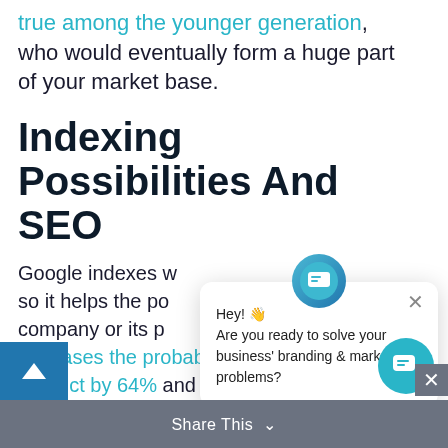true among the younger generation, who would eventually form a huge part of your market base.
Indexing Possibilities And SEO
Google indexes w... so it helps the po... company or its p... increases the probability of buying a product by 64% and retains users on your website.
[Figure (screenshot): Chat popup widget with avatar icon, close button (×), and message: Hey! 👋 Are you ready to solve your business' branding & marketing problems?]
Share This ∨